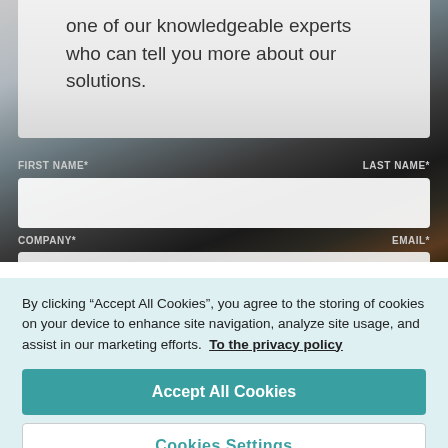one of our knowledgeable experts who can tell you more about our solutions.
FIRST NAME*
LAST NAME*
COMPANY*
EMAIL*
By clicking “Accept All Cookies”, you agree to the storing of cookies on your device to enhance site navigation, analyze site usage, and assist in our marketing efforts. To the privacy policy
Accept All Cookies
Cookies Settings